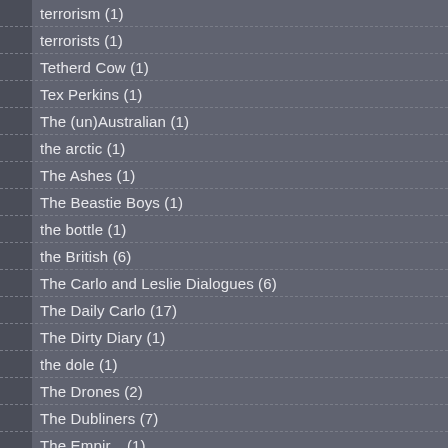terrorism (1)
terrorists (1)
Tetherd Cow (1)
Tex Perkins (1)
The (un)Australian (1)
the arctic (1)
The Ashes (1)
The Beastie Boys (1)
the bottle (1)
the British (6)
The Carlo and Leslie Dialogues (6)
The Daily Carlo (17)
The Dirty Diary (1)
the dole (1)
The Drones (2)
The Dubliners (7)
The Empir... (1)